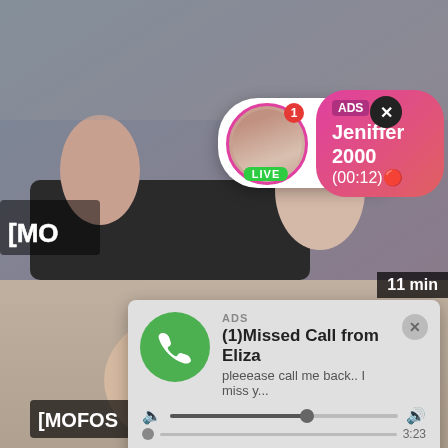[Figure (screenshot): Background video frame showing people on a couch (top) and a person from behind (bottom), with MOFOS watermark logo]
[Figure (infographic): Live notification ad card: avatar with LIVE badge, pink gradient bubble showing ADS label, name Jeniffer 2000, time (00:12), close X button]
[Figure (infographic): Missed call audio player ad card: green phone icon, ADS label, title (1)Missed Call from Eliza, subtitle pleeease call me back.. I miss y..., audio progress bar, time 0:00 to 3:23, playback controls (rewind, play, fast-forward)]
11 min